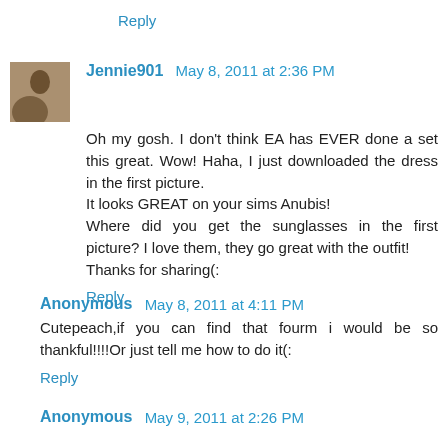Reply
Jennie901  May 8, 2011 at 2:36 PM
Oh my gosh. I don't think EA has EVER done a set this great. Wow! Haha, I just downloaded the dress in the first picture.
It looks GREAT on your sims Anubis!
Where did you get the sunglasses in the first picture? I love them, they go great with the outfit!
Thanks for sharing(:
Reply
Anonymous  May 8, 2011 at 4:11 PM
Cutepeach,if you can find that fourm i would be so thankful!!!!Or just tell me how to do it(:
Reply
Anonymous  May 9, 2011 at 2:26 PM